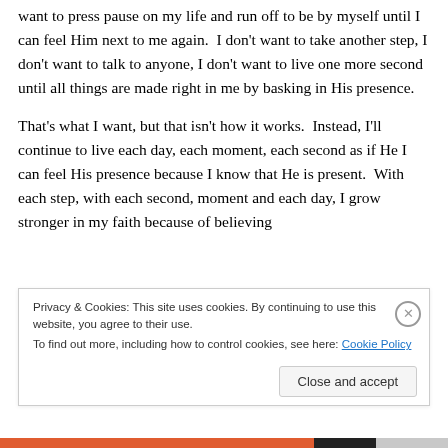want to press pause on my life and run off to be by myself until I can feel Him next to me again.  I don't want to take another step, I don't want to talk to anyone, I don't want to live one more second until all things are made right in me by basking in His presence.
That's what I want, but that isn't how it works.  Instead, I'll continue to live each day, each moment, each second as if He I can feel His presence because I know that He is present.  With each step, with each second, moment and each day, I grow stronger in my faith because of believing
Privacy & Cookies: This site uses cookies. By continuing to use this website, you agree to their use.
To find out more, including how to control cookies, see here: Cookie Policy
Close and accept